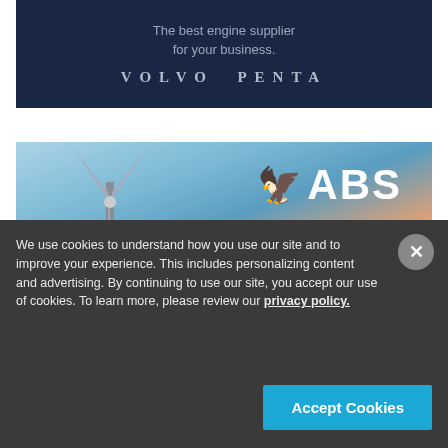[Figure (advertisement): Volvo Penta advertisement banner with dark navy background. Text reads 'The best engine supplier for your business.' and 'VOLVO PENTA' logo in stylized text.]
[Figure (advertisement): ABS (American Bureau of Shipping) advertisement banner featuring wind turbines against a sunset sky. Shows ABS eagle logo and brand name with text 'DELIVERING'.]
We use cookies to understand how you use our site and to improve your experience. This includes personalizing content and advertising. By continuing to use our site, you accept our use of cookies. To learn more, please review our privacy policy.